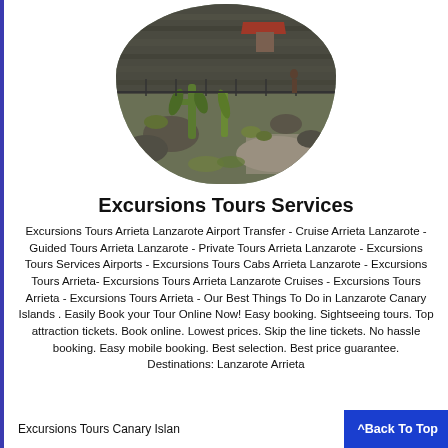[Figure (photo): Outdoor garden landscape with cacti, rocks, volcanic stone walls, and a red-roofed structure in Lanzarote, Canary Islands. Photo is displayed in a dome/arch shape (rounded rectangle clipped).]
Excursions Tours Services
Excursions Tours Arrieta Lanzarote Airport Transfer - Cruise Arrieta Lanzarote - Guided Tours Arrieta Lanzarote - Private Tours Arrieta Lanzarote - Excursions Tours Services Airports - Excursions Tours Cabs Arrieta Lanzarote - Excursions Tours Arrieta- Excursions Tours Arrieta Lanzarote Cruises - Excursions Tours Arrieta - Excursions Tours Arrieta - Our Best Things To Do in Lanzarote Canary Islands . Easily Book your Tour Online Now! Easy booking. Sightseeing tours. Top attraction tickets. Book online. Lowest prices. Skip the line tickets. No hassle booking. Easy mobile booking. Best selection. Best price guarantee. Destinations: Lanzarote Arrieta
Excursions Tours Canary Islands
^Back To Top